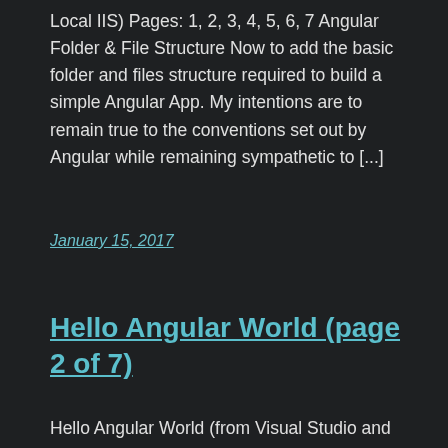Local IIS) Pages: 1, 2, 3, 4, 5, 6, 7 Angular Folder & File Structure Now to add the basic folder and files structure required to build a simple Angular App. My intentions are to remain true to the conventions set out by Angular while remaining sympathetic to [...]
January 15, 2017
Hello Angular World (page 2 of 7)
Hello Angular World (from Visual Studio and